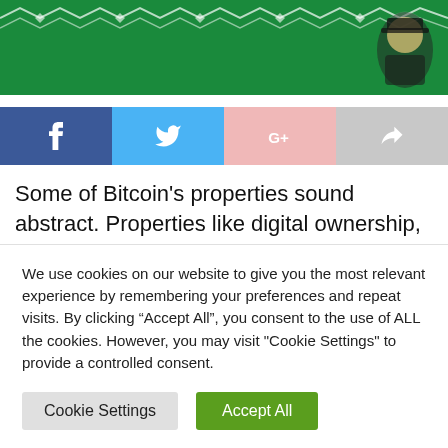[Figure (illustration): Green banner hero image with decorative white chain-link/barbed wire pattern at top and partial illustration of a character in upper right corner]
[Figure (infographic): Social share buttons row: Facebook (dark blue with f icon), Twitter (light blue with bird icon), Google+ (pink with G+ icon), Share (gray with arrow icon)]
Some of Bitcoin’s properties sound abstract. Properties like digital ownership, censorship resistance, decentralization and more. But the deeper you dig into the Bitcoin rabbit hole, the more you realize that Satoshi Nakamoto even implemented some mutually exclusive
We use cookies on our website to give you the most relevant experience by remembering your preferences and repeat visits. By clicking “Accept All”, you consent to the use of ALL the cookies. However, you may visit "Cookie Settings" to provide a controlled consent.
Cookie Settings
Accept All